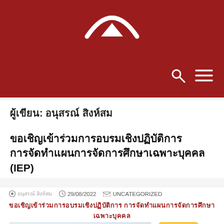[Figure (logo): Website header with dark red background, arc/bridge logo at top center, search icon and hamburger menu icon at bottom right]
ผู้เขียน: อนุสรณ์ สิงห์สม
ขอเชิญเข้าร่วมการอบรมเชิงปฏิบัติการ การจัดทำแผนการจัดการศึกษาเฉพาะบุคคล (IEP)
อนุสรณ์ สิงห์สม  29/08/2022  UNCATEGORIZED
[Figure (photo): Blurred workshop/training image on the left and golden (IEP) badge logo on the right, with Thai red text caption above]